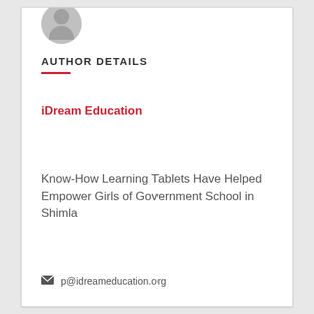[Figure (illustration): Partial gray avatar/profile icon in the top left area of the card]
AUTHOR DETAILS
iDream Education
Know-How Learning Tablets Have Helped Empower Girls of Government School in Shimla
p@idreameducation.org